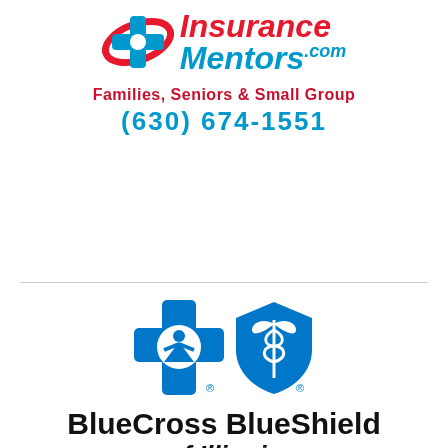[Figure (logo): Insurance Mentors logo with red swoosh/arrow icon and blue cross, plus text 'Insurance Mentors.com', 'Families, Seniors & Small Group', '(630) 674-1551']
[Figure (logo): BlueCross BlueShield of Illinois logo with blue cross and blue shield icons, text 'BlueCross BlueShield of Illinois']